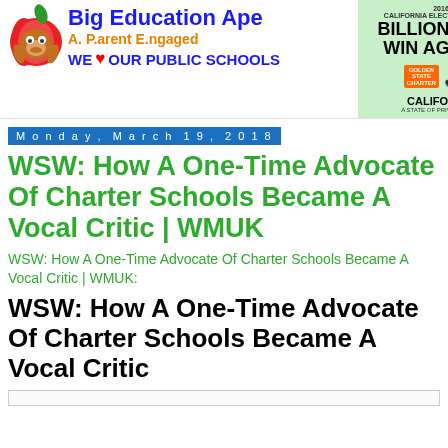[Figure (logo): Big Education Ape blog banner with ape/apple logo on left, 'Big Education Ape / A. P.arent E.ngaged / WE LOVE OUR PUBLIC SCHOOLS' text, and a California election results / Billionaires Win Again advertisement on the right]
Monday, March 19, 2018
WSW: How A One-Time Advocate Of Charter Schools Became A Vocal Critic | WMUK
WSW: How A One-Time Advocate Of Charter Schools Became A Vocal Critic | WMUK:
WSW: How A One-Time Advocate Of Charter Schools Became A Vocal Critic